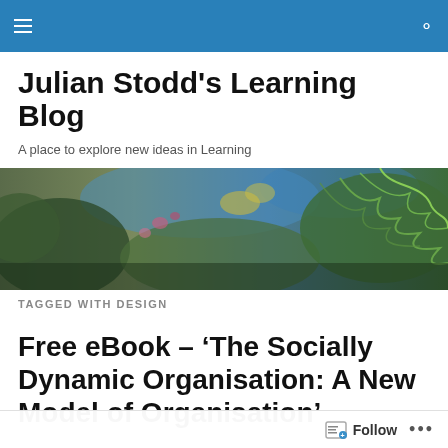Julian Stodd's Learning Blog
A place to explore new ideas in Learning
[Figure (photo): Close-up nature photo of fern leaves and foliage with blue and green tones]
TAGGED WITH DESIGN
Free eBook – ‘The Socially Dynamic Organisation: A New Model of Organisation’
Follow